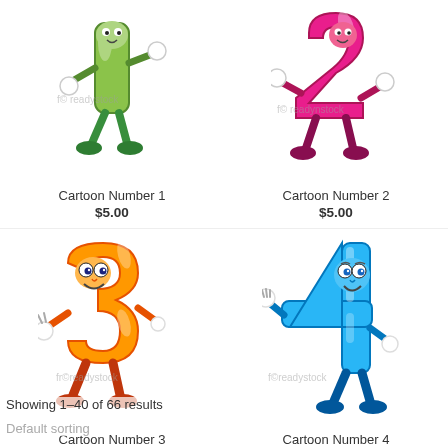[Figure (illustration): Cartoon character shaped like the number 1, green color with arms and legs, white gloves, waving hand]
Cartoon Number 1
$5.00
[Figure (illustration): Cartoon character shaped like the number 2, hot pink/magenta color with arms and legs, white gloves, posing]
Cartoon Number 2
$5.00
[Figure (illustration): Cartoon character shaped like the number 3, orange color with large eyes, smiling face, making peace sign]
Cartoon Number 3
[Figure (illustration): Cartoon character shaped like the number 4, blue color with large eyes, smiling face, waving hand]
Cartoon Number 4
Showing 1–40 of 66 results
Default sorting